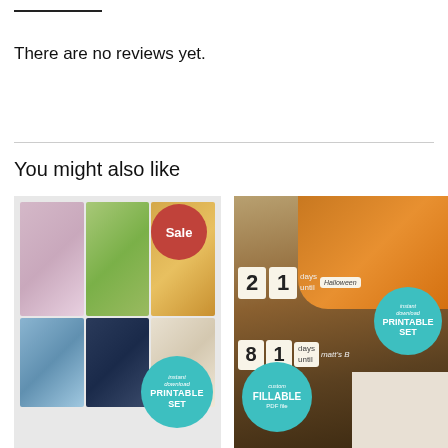There are no reviews yet.
You might also like
[Figure (photo): Woodland animal printable art set with raccoon, fox, squirrel, deer, bear prints shown in grid layout with a red Sale badge and teal Printable Set badge]
[Figure (photo): Countdown blocks showing '21 days until Halloween' and '81 days until Matt's B...' with pumpkin in background, teal Printable Set badge and teal Fillable PDF file badge]